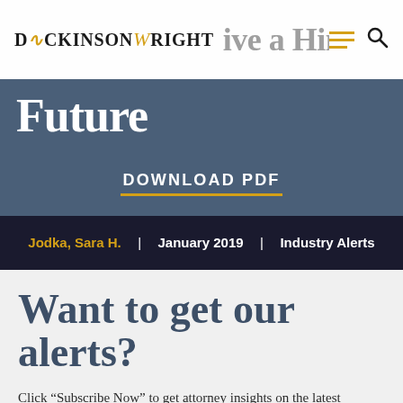Dickinson Wright | Give a Hint of Future
Future
DOWNLOAD PDF
Jodka, Sara H. | January 2019 | Industry Alerts
Want to get our alerts?
Click “Subscribe Now” to get attorney insights on the latest developments in a range of services and industries.